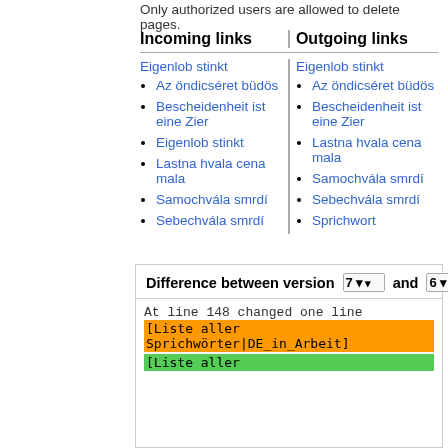Only authorized users are allowed to delete pages.
Incoming links
Outgoing links
Eigenlob stinkt
Eigenlob stinkt
Az öndicséret büdös
Az öndicséret büdös
Bescheidenheit ist eine Zier
Bescheidenheit ist eine Zier
Eigenlob stinkt
Lastna hvala cena mala
Lastna hvala cena mala
Samochvála smrdí
Samochvála smrdí
Sebechvála smrdí
Sebechvála smrdí
Sprichwort
Difference between version 7 and 6
At line 148 changed one line
[Liste aller Sprichwörter|DE_in_Arbeit]
[Liste aller